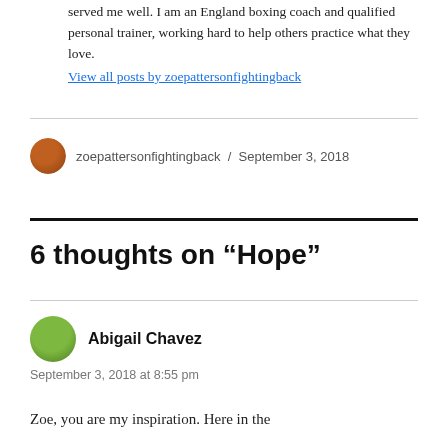served me well. I am an England boxing coach and qualified personal trainer, working hard to help others practice what they love.
View all posts by zoepattersonfightingback
zoepattersonfightingback / September 3, 2018
6 thoughts on “Hope”
Abigail Chavez
September 3, 2018 at 8:55 pm
Zoe, you are my inspiration. Here in the